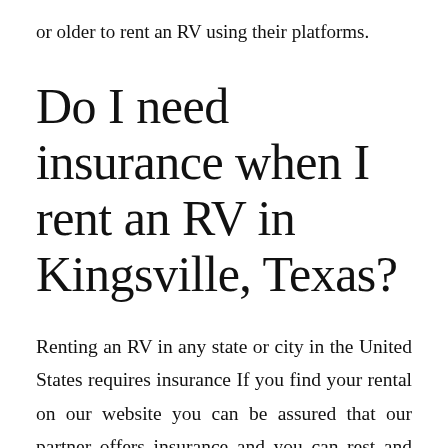or older to rent an RV using their platforms.
Do I need insurance when I rent an RV in Kingsville, Texas?
Renting an RV in any state or city in the United States requires insurance If you find your rental on our website you can be assured that our partner offers insurance and you can rest and the off an option